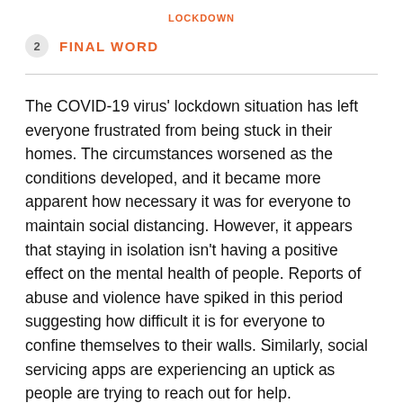LOCKDOWN
2  FINAL WORD
The COVID-19 virus' lockdown situation has left everyone frustrated from being stuck in their homes. The circumstances worsened as the conditions developed, and it became more apparent how necessary it was for everyone to maintain social distancing. However, it appears that staying in isolation isn't having a positive effect on the mental health of people. Reports of abuse and violence have spiked in this period suggesting how difficult it is for everyone to confine themselves to their walls. Similarly, social servicing apps are experiencing an uptick as people are trying to reach out for help.